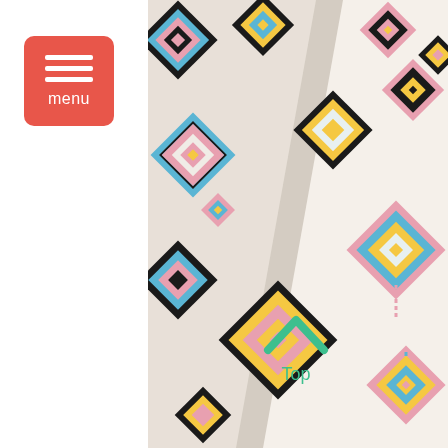[Figure (photo): Close-up photograph of a colorful woven textile/rug with geometric diamond patterns in pink, yellow, blue, and black on a cream/white background. The fabric is partially folded, showing both sides. A teal/green chevron arrow and the word 'Top' indicate the top orientation of the textile.]